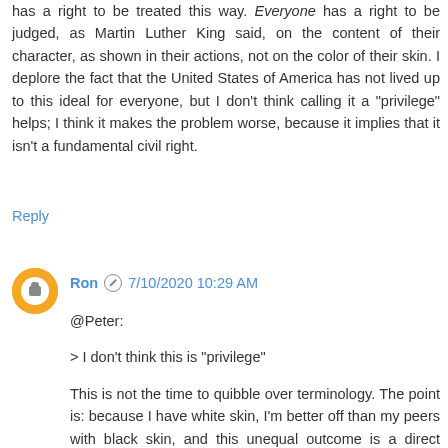has a right to be treated this way. Everyone has a right to be judged, as Martin Luther King said, on the content of their character, as shown in their actions, not on the color of their skin. I deplore the fact that the United States of America has not lived up to this ideal for everyone, but I don't think calling it a "privilege" helps; I think it makes the problem worse, because it implies that it isn't a fundamental civil right.
Reply
Ron  7/10/2020 10:29 AM
@Peter:

> I don't think this is "privilege"

This is not the time to quibble over terminology. The point is: because I have white skin, I'm better off than my peers with black skin, and this unequal outcome is a direct result of the color of our skin and not justifiable on any rational grounds. Whether you attach the label "privilege" to this state of affairs or not changes nothing of substance and